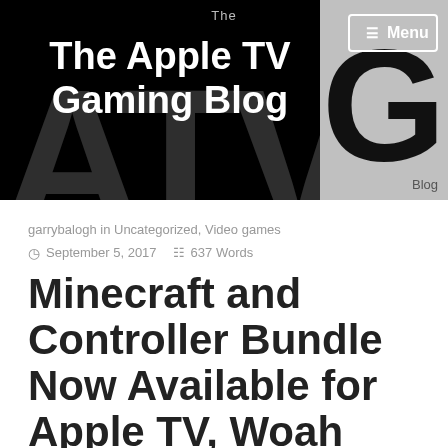[Figure (screenshot): The Apple TV Gaming Blog website header banner with black background, large faded letters 'ATVG', white title text 'The Apple TV Gaming Blog', gray right panel with large 'G', and Menu button in top right corner]
The Apple TV Gaming Blog
garrybalogh in Uncategorized, Video games
September 5, 2017  637 Words
Minecraft and Controller Bundle Now Available for Apple TV, Woah